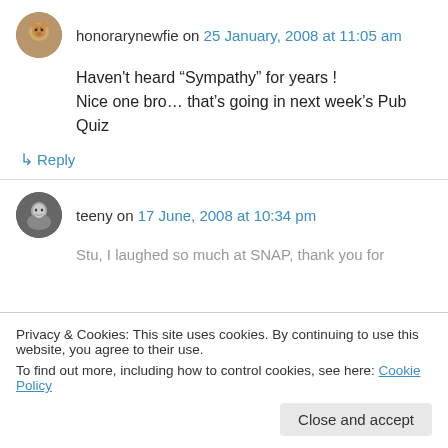honorarynewfie on 25 January, 2008 at 11:05 am
Haven't heard “Sympathy” for years ! Nice one bro… that’s going in next week’s Pub Quiz
→ Reply
teeny on 17 June, 2008 at 10:34 pm
Stu, I laughed so much at SNAP, thank you for
Privacy & Cookies: This site uses cookies. By continuing to use this website, you agree to their use.
To find out more, including how to control cookies, see here: Cookie Policy
Close and accept